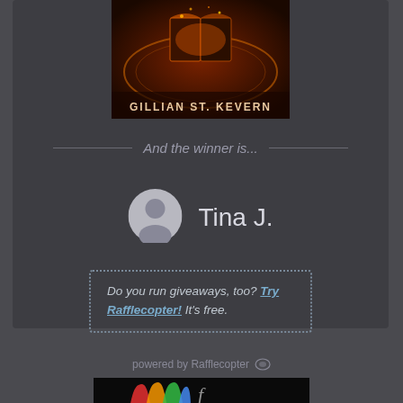[Figure (illustration): Book cover image with glowing magical book and text 'GILLIAN ST. KEVERN' on a dark background with circular rune design]
And the winner is...
[Figure (illustration): Gray circular avatar/profile silhouette icon next to winner name 'Tina J.']
Tina J.
Do you run giveaways, too? Try Rafflecopter! It's free.
powered by Rafflecopter
[Figure (logo): Partial logo at bottom of page on black background]